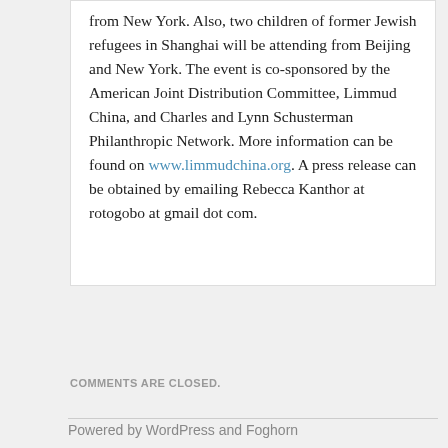from New York. Also, two children of former Jewish refugees in Shanghai will be attending from Beijing and New York. The event is co-sponsored by the American Joint Distribution Committee, Limmud China, and Charles and Lynn Schusterman Philanthropic Network. More information can be found on www.limmudchina.org. A press release can be obtained by emailing Rebecca Kanthor at rotogobo at gmail dot com.
COMMENTS ARE CLOSED.
Powered by WordPress and Foghorn